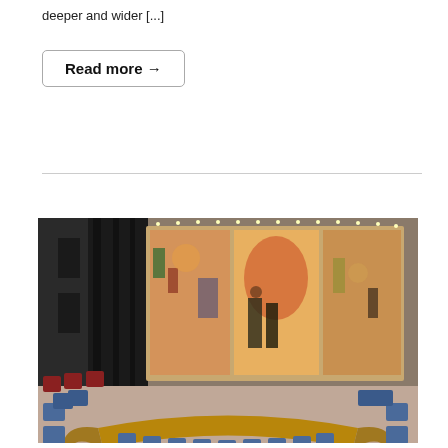deeper and wider [...]
Read more →
[Figure (photo): Interior of the United Nations Security Council chamber showing a large colorful mural on the wall, with the horseshoe-shaped council table and blue chairs in the foreground.]